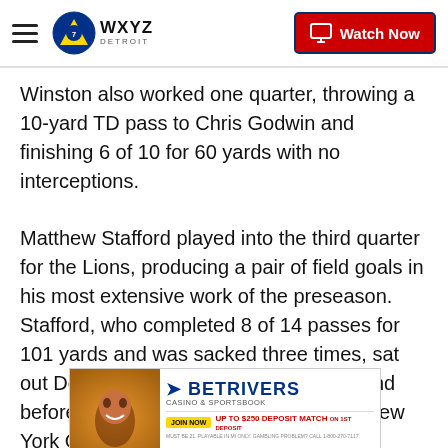WXYZ Detroit — Watch Now
Winston also worked one quarter, throwing a 10-yard TD pass to Chris Godwin and finishing 6 of 10 for 60 yards with no interceptions.
Matthew Stafford played into the third quarter for the Lions, producing a pair of field goals in his most extensive work of the preseason. Stafford, who completed 8 of 14 passes for 101 yards and was sacked three times, sat out Detroit's preseason opener at Oakland before playing three series against the New York Giants last week.
The 10-year pro moved the Lions 65 yards in 10
[Figure (other): BetRivers Casino & Sportsbook advertisement banner with a woman's photo, 'JOIN NOW' button, and 'UP TO $250 DEPOSIT MATCH ON 1ST DEPOSIT' offer]